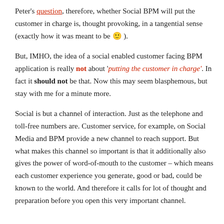Peter's question, therefore, whether Social BPM will put the customer in charge is, thought provoking, in a tangential sense (exactly how it was meant to be 🙂 ).
But, IMHO, the idea of a social enabled customer facing BPM application is really not about 'putting the customer in charge'. In fact it should not be that. Now this may seem blasphemous, but stay with me for a minute more.
Social is but a channel of interaction. Just as the telephone and toll-free numbers are. Customer service, for example, on Social Media and BPM provide a new channel to reach support. But what makes this channel so important is that it additionally also gives the power of word-of-mouth to the customer – which means each customer experience you generate, good or bad, could be known to the world. And therefore it calls for lot of thought and preparation before you open this very important channel.